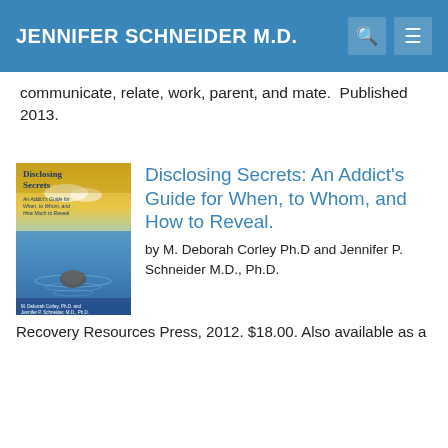JENNIFER SCHNEIDER M.D.
communicate, relate, work, parent, and mate.  Published 2013.
[Figure (illustration): Book cover of 'Disclosing Secrets: An Addict's Guide for When, to Whom, and How Much to Reveal' by M. Deborah Corley Ph.D and Jennifer P. Schneider M.D., Ph.D. Cover shows a calm ocean scene with a stone and ripples, golden-yellow top and blue sky/water.]
Disclosing Secrets: An Addict's Guide for When, to Whom, and How to Reveal.
by M. Deborah Corley Ph.D and Jennifer P. Schneider M.D., Ph.D.
Recovery Resources Press, 2012. $18.00. Also available as a